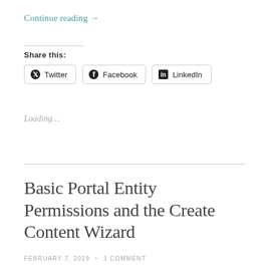Continue reading →
Share this:
Twitter  Facebook  LinkedIn
Loading…
Basic Portal Entity Permissions and the Create Content Wizard
FEBRUARY 7, 2019 ~ 1 COMMENT